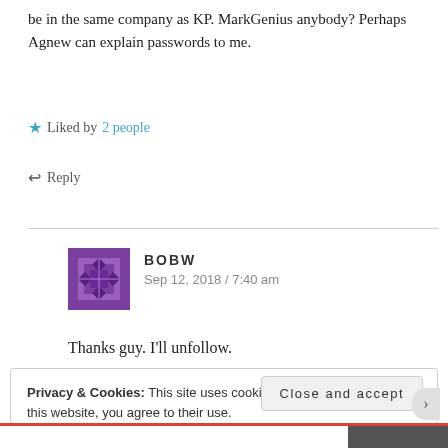be in the same company as KP. MarkGenius anybody? Perhaps Agnew can explain passwords to me.
★ Liked by 2 people
↩ Reply
BOBW
Sep 12, 2018 / 7:40 am
Thanks guy. I'll unfollow.
Privacy & Cookies: This site uses cookies. By continuing to use this website, you agree to their use.
To find out more, including how to control cookies, see here: Cookie Policy
Close and accept